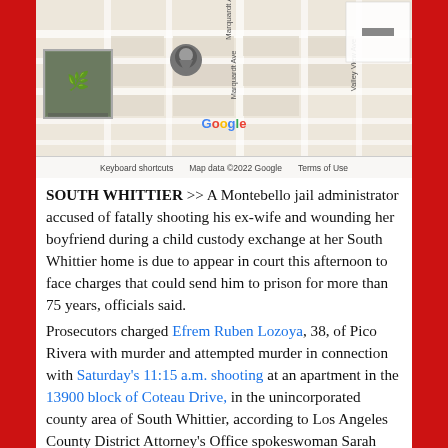[Figure (map): Google Maps screenshot showing the 13900 block of Coteau Drive area in South Whittier, with a location pin marker. Shows street grid with Marquardt Ave and Valley View Ave visible. Includes Google logo, keyboard shortcuts, map data copyright 2022 Google, and Terms of Use footer.]
SOUTH WHITTIER >> A Montebello jail administrator accused of fatally shooting his ex-wife and wounding her boyfriend during a child custody exchange at her South Whittier home is due to appear in court this afternoon to face charges that could send him to prison for more than 75 years, officials said.
Prosecutors charged Efrem Ruben Lozoya, 38, of Pico Rivera with murder and attempted murder in connection with Saturday's 11:15 a.m. shooting at an apartment in the 13900 block of Coteau Drive, in the unincorporated county area of South Whittier, according to Los Angeles County District Attorney's Office spokeswoman Sarah Ardalani.
He entered no plea, she said. His arraignment was continued to July 18 in the Downey branch of Los Angeles County Superior Court.
Lozoya is also accused of the special allegation that he personally used a gun in the crimes, causing great bodily